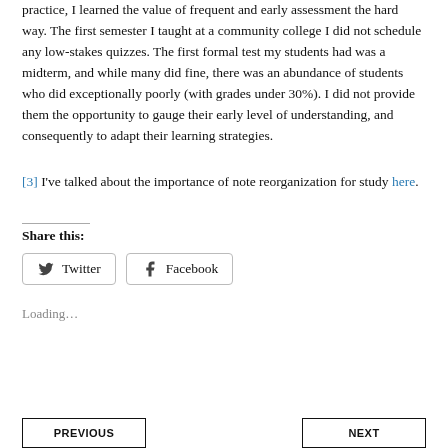practice, I learned the value of frequent and early assessment the hard way. The first semester I taught at a community college I did not schedule any low-stakes quizzes. The first formal test my students had was a midterm, and while many did fine, there was an abundance of students who did exceptionally poorly (with grades under 30%). I did not provide them the opportunity to gauge their early level of understanding, and consequently to adapt their learning strategies.
[3] I've talked about the importance of note reorganization for study here.
Share this:
Twitter  Facebook
Loading...
PREVIOUS
NEXT